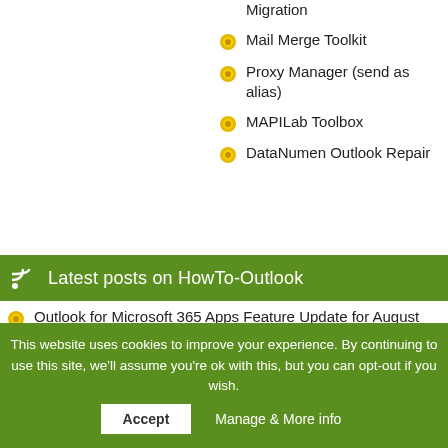Migration
Mail Merge Toolkit
Proxy Manager (send as alias)
MAPILab Toolbox
DataNumen Outlook Repair
Latest posts on HowTo-Outlook
Outlook for Microsoft 365 Apps Feature Update for August 2022
Outlook 2016 / 2019 / 2021 / 365 Update for August 2022
This website uses cookies to improve your experience. By continuing to use this site, we'll assume you're ok with this, but you can opt-out if you wish.